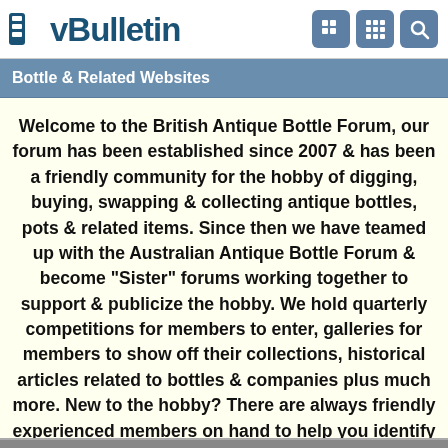vBulletin
Bottle & Related Websites
Welcome to the British Antique Bottle Forum, our forum has been established since 2007 & has been a friendly community for the hobby of digging, buying, swapping & collecting antique bottles, pots & related items. Since then we have teamed up with the Australian Antique Bottle Forum & become "Sister" forums working together to support & publicize the hobby. We hold quarterly competitions for members to enter, galleries for members to show off their collections, historical articles related to bottles & companies plus much more. New to the hobby? There are always friendly experienced members on hand to help you identify your finds.